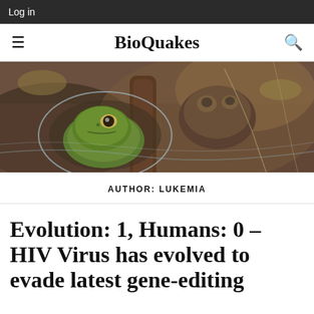Log in
BioQuakes
[Figure (photo): Close-up photograph of frogs partially submerged in muddy water, with one green frog prominently in focus showing its eye, and another frog visible behind it.]
AUTHOR: LUKEMIA
Evolution: 1, Humans: 0 – HIV Virus has evolved to evade latest gene-editing